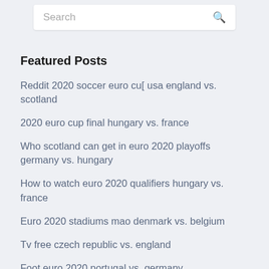Search
Featured Posts
Reddit 2020 soccer euro cu[ usa england vs. scotland
2020 euro cup final hungary vs. france
Who scotland can get in euro 2020 playoffs germany vs. hungary
How to watch euro 2020 qualifiers hungary vs. france
Euro 2020 stadiums mao denmark vs. belgium
Tv free czech republic vs. england
Foot euro 2020 portugal vs. germany
Uefa nations league euro 2020 portugal vs. germany